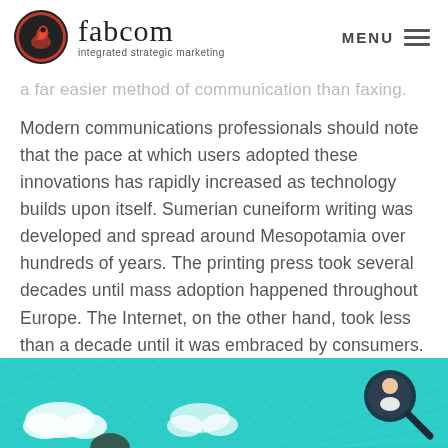fabcom integrated strategic marketing | MENU
a far easier method of communication than faxing.
Modern communications professionals should note that the pace at which users adopted these innovations has rapidly increased as technology builds upon itself. Sumerian cuneiform writing was developed and spread around Mesopotamia over hundreds of years. The printing press took several decades until mass adoption happened throughout Europe. The Internet, on the other hand, took less than a decade until it was embraced by consumers.
[Figure (illustration): Partial illustration showing a teal/turquoise background with cartoon-style characters and clouds, part of an infographic about communications technology.]